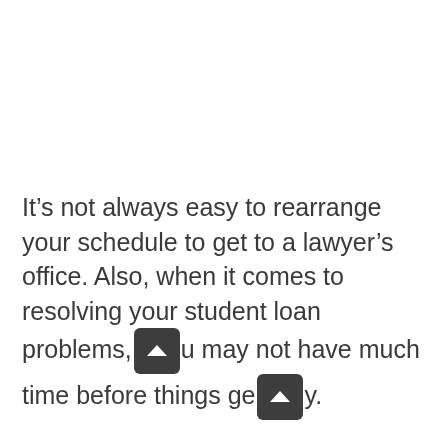It’s not always easy to rearrange your schedule to get to a lawyer’s office. Also, when it comes to resolving your student loan problems, you may not have much time before things get ugly.